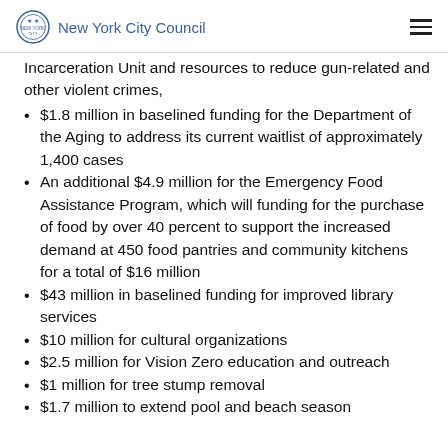New York City Council
Incarceration Unit and resources to reduce gun-related and other violent crimes,
$1.8 million in baselined funding for the Department of the Aging to address its current waitlist of approximately 1,400 cases
An additional $4.9 million for the Emergency Food Assistance Program, which will funding for the purchase of food by over 40 percent to support the increased demand at 450 food pantries and community kitchens for a total of $16 million
$43 million in baselined funding for improved library services
$10 million for cultural organizations
$2.5 million for Vision Zero education and outreach
$1 million for tree stump removal
$1.7 million to extend pool and beach season